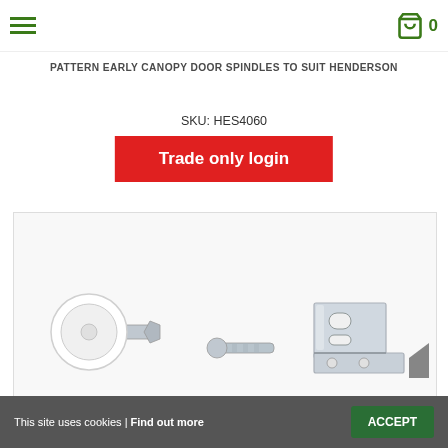PATTERN EARLY CANOPY DOOR SPINDLES TO SUIT HENDERSON
SKU: HES4060
Trade only login
[Figure (photo): Product photo showing canopy door spindles components: a white plastic roller on a bolt spindle on the left, a threaded spindle in the middle, and a metal bracket/fitting with slots on the right, all on a white background.]
This site uses cookies | Find out more   ACCEPT